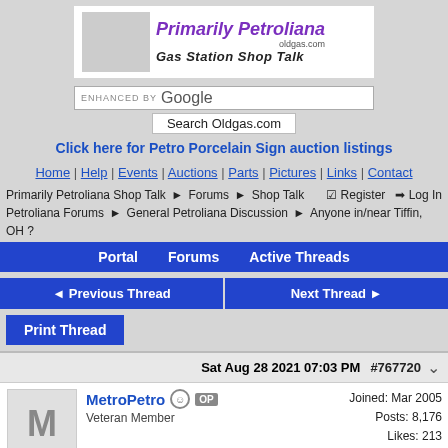[Figure (logo): Primarily Petroliana oldgas.com Gas Station Shop Talk logo with vintage gas station attendant figure]
ENHANCED BY Google
Search Oldgas.com
Click here for Petro Porcelain Sign auction listings
Home | Help | Events | Auctions | Parts | Pictures | Links | Contact
Primarily Petroliana Shop Talk > Forums > Shop Talk Petroliana Forums > General Petroliana Discussion > Anyone in/near Tiffin, OH ?
Register  Log In
Portal    Forums    Active Threads
< Previous Thread
Next Thread >
Print Thread
Sat Aug 28 2021 07:03 PM  #767720
MetroPetro  OP
Veteran Member
Joined: Mar 2005
Posts: 8,176
Likes: 213